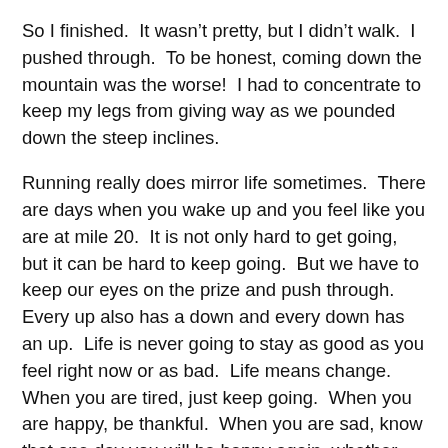So I finished.  It wasn't pretty, but I didn't walk.  I pushed through.  To be honest, coming down the mountain was the worse!  I had to concentrate to keep my legs from giving way as we pounded down the steep inclines.
Running really does mirror life sometimes.  There are days when you wake up and you feel like you are at mile 20.  It is not only hard to get going, but it can be hard to keep going.  But we have to keep our eyes on the prize and push through.  Every up also has a down and every down has an up.  Life is never going to stay as good as you feel right now or as bad.  Life means change.  When you are tired, just keep going.  When you are happy, be thankful.  When you are sad, know that one day you will be happy again, whether you feel like you will be or not.
Before I sign off I want to congratulate RS who made it to